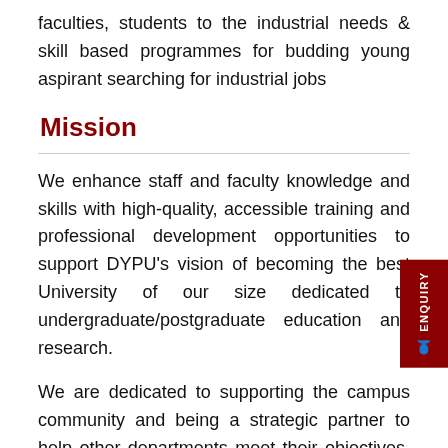faculties, students to the industrial needs & skill based programmes for budding young aspirant searching for industrial jobs
Mission
We enhance staff and faculty knowledge and skills with high-quality, accessible training and professional development opportunities to support DYPU's vision of becoming the best University of our size dedicated to undergraduate/postgraduate education and research.
We are dedicated to supporting the campus community and being a strategic partner to help other departments meet their objectives. As a